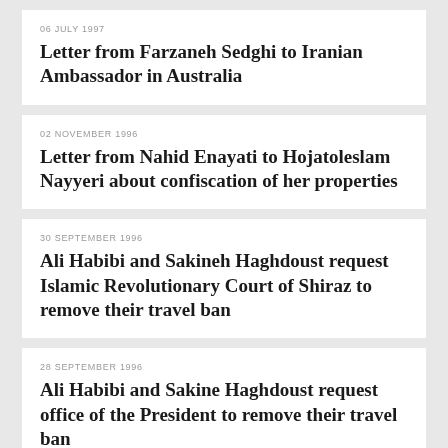06 JULY 1997
Letter from Farzaneh Sedghi to Iranian Ambassador in Australia
02 NOVEMBER 1996
Letter from Nahid Enayati to Hojatoleslam Nayyeri about confiscation of her properties
30 SEPTEMBER 1996
Ali Habibi and Sakineh Haghdoust request Islamic Revolutionary Court of Shiraz to remove their travel ban
28 SEPTEMBER 1996
Ali Habibi and Sakine Haghdoust request office of the President to remove their travel ban